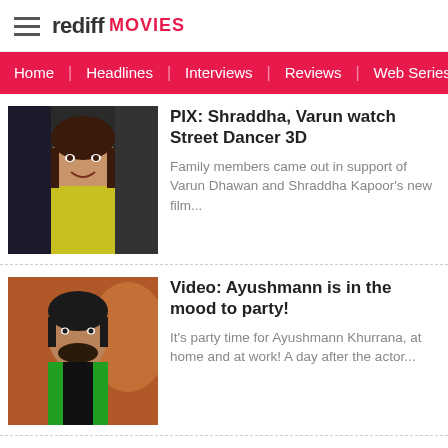rediff MOVIES
Home | Headlines | Interviews | Reviews | Web Series | Tel
PIX: Shraddha, Varun watch Street Dancer 3D
Family members came out in support of Varun Dhawan and Shraddha Kapoor's new film...
Video: Ayushmann is in the mood to party!
It's party time for Ayushmann Khurrana, at home and at work! A day after the actor...
VideoS: Learn how to POUT like Kareena and Priyanka!
Besides giving us a peek into their lives...